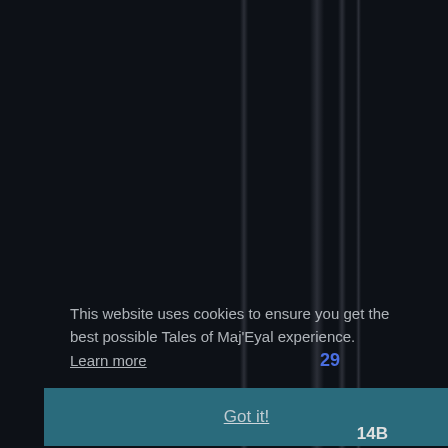[Figure (screenshot): Dark background (near-black, #0d1117) screenshot of a website with vertical semi-transparent stripe artifacts overlaid. A cookie consent notice appears in the lower-left region, with a teal 'Got it!' button at the bottom. A blue number '29' appears overlapping the text. A white bold '14B' label is visible at the bottom right.]
This website uses cookies to ensure you get the best possible Tales of Maj'Eyal experience. Learn more
29
Got it!
14B